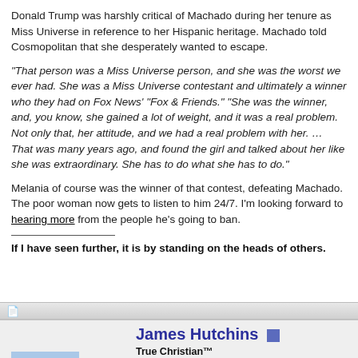Donald Trump was harshly critical of Machado during her tenure as Miss Universe in reference to her Hispanic heritage. Machado told Cosmopolitan that she desperately wanted to escape.
“That person was a Miss Universe person, and she was the worst we ever had. She was a Miss Universe contestant and ultimately a winner who they had on Fox News’ “Fox & Friends.” “She was the winner, and, you know, she gained a lot of weight, and it was a real problem. Not only that, her attitude, and we had a real problem with her. … That was many years ago, and found the girl and talked about her like she was extraordinary. She has to do what she has to do.”
Melania of course was the winner of that contest, defeating Machado. The poor woman now gets to listen to him 24/7. I’m looking forward to hearing more from the people he’s going to ban.
If I have seen further, it is by standing on the heads of others.
James Hutchins
True Christian™
Just a Regular Nice Guy